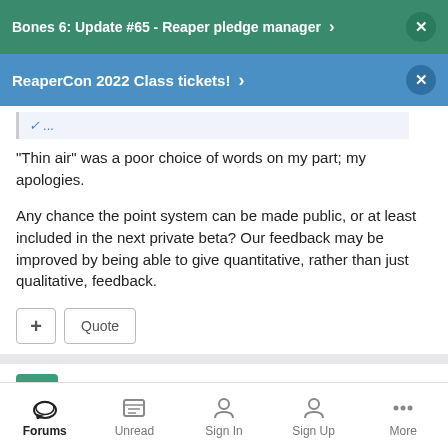Bones 6: Update #65 - Reaper pledge manager
ReaperCon 2022 Class tickets!
"Thin air" was a poor choice of words on my part; my apologies.

Any chance the point system can be made public, or at least included in the next private beta? Our feedback may be improved by being able to give quantitative, rather than just qualitative, feedback.
Mad Pat
Forums   Unread   Sign In   Sign Up   More